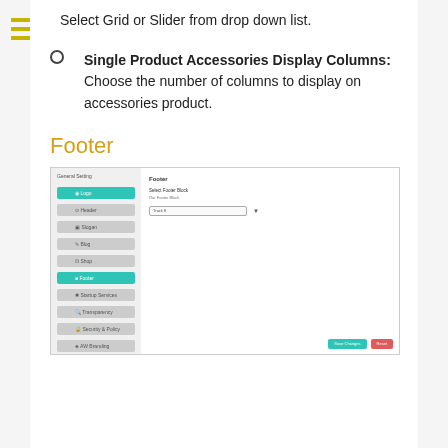Select Grid or Slider from drop down list.
Single Product Accessories Display Columns: Choose the number of columns to display on accessories product.
Footer
[Figure (screenshot): Screenshot of a settings panel showing a sidebar menu with 'Footer' item highlighted in teal, and a main content area with 'Footer' heading and 'Select Footer Block' field with a dropdown input and Save Changes / Reset buttons.]